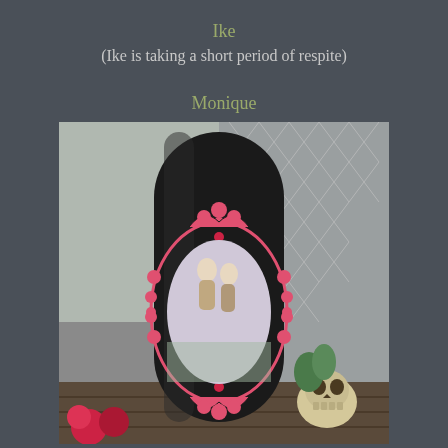Ike
(Ike is taking a short period of respite)
Monique
[Figure (photo): A dark black cylindrical candle decorated with an ornate pink and black lace-style medallion frame containing a vintage illustration of two figures. A skull is visible in the bottom right corner. Chain-link fence and other items visible in the background.]